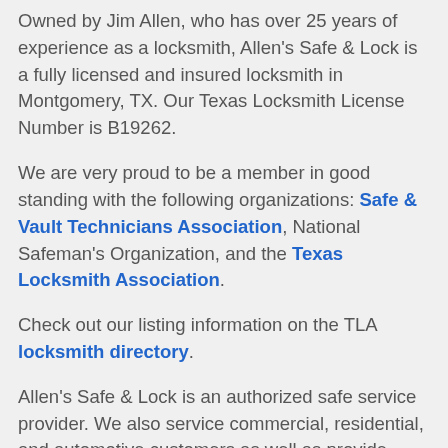Owned by Jim Allen, who has over 25 years of experience as a locksmith, Allen's Safe & Lock is a fully licensed and insured locksmith in Montgomery, TX. Our Texas Locksmith License Number is B19262.
We are very proud to be a member in good standing with the following organizations: Safe & Vault Technicians Association, National Safeman's Organization, and the Texas Locksmith Association.
Check out our listing information on the TLA locksmith directory.
Allen's Safe & Lock is an authorized safe service provider. We also service commercial, residential, and automotive customers as well as provide emergency locksmith service 24